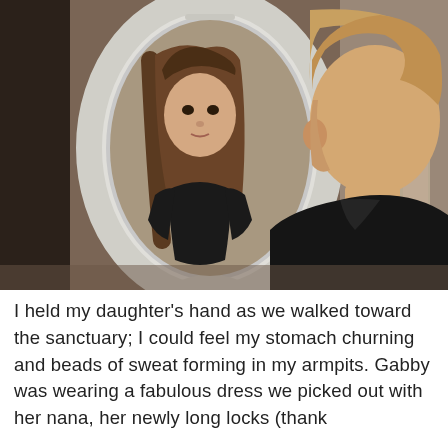[Figure (photo): A child with short hair stands looking into an oval vanity mirror. The mirror's reflection shows a girl with long brown hair wearing a black top. The mirror has a grey/white decorative frame with a crown-like top.]
I held my daughter's hand as we walked toward the sanctuary; I could feel my stomach churning and beads of sweat forming in my armpits. Gabby was wearing a fabulous dress we picked out with her nana, her newly long locks (thank